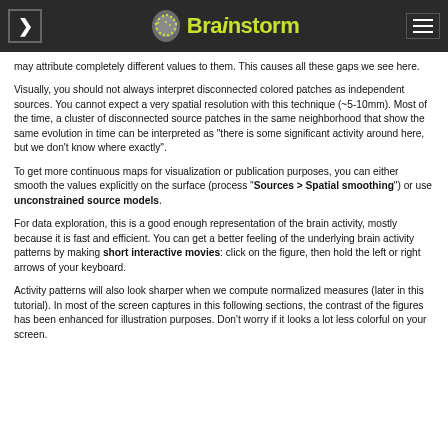Brainstorm
may attribute completely different values to them. This causes all these gaps we see here.
Visually, you should not always interpret disconnected colored patches as independent sources. You cannot expect a very spatial resolution with this technique (~5-10mm). Most of the time, a cluster of disconnected source patches in the same neighborhood that show the same evolution in time can be interpreted as "there is some significant activity around here, but we don't know where exactly".
To get more continuous maps for visualization or publication purposes, you can either smooth the values explicitly on the surface (process "Sources > Spatial smoothing") or use unconstrained source models.
For data exploration, this is a good enough representation of the brain activity, mostly because it is fast and efficient. You can get a better feeling of the underlying brain activity patterns by making short interactive movies: click on the figure, then hold the left or right arrows of your keyboard.
Activity patterns will also look sharper when we compute normalized measures (later in this tutorial). In most of the screen captures in this following sections, the contrast of the figures has been enhanced for illustration purposes. Don't worry if it looks a lot less colorful on your screen.